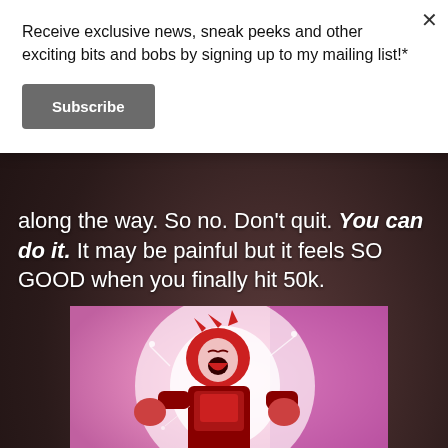Receive exclusive news, sneak peeks and other exciting bits and bobs by signing up to my mailing list!*
Subscribe
along the way. So no. Don't quit. You can do it. It may be painful but it feels SO GOOD when you finally hit 50k.
[Figure (illustration): Anime character (Dragon Ball style, red-tinted, Super Saiyan) screaming with energy, with text overlay 'Ultimate Rage Quit' and watermark '@GAMINGGIFS']